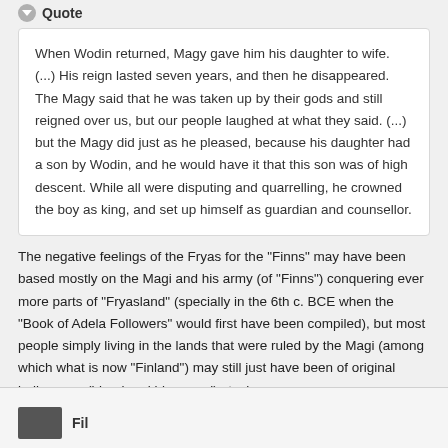Quote
When Wodin returned, Magy gave him his daughter to wife. (...) His reign lasted seven years, and then he disappeared. The Magy said that he was taken up by their gods and still reigned over us, but our people laughed at what they said. (...) but the Magy did just as he pleased, because his daughter had a son by Wodin, and he would have it that this son was of high descent. While all were disputing and quarrelling, he crowned the boy as king, and set up himself as guardian and counsellor.
The negative feelings of the Fryas for the "Finns" may have been based mostly on the Magi and his army (of "Finns") conquering ever more parts of "Fryasland" (specially in the 6th c. BCE when the "Book of Adela Followers" would first have been compiled), but most people simply living in the lands that were ruled by the Magi (among which what is now "Finland") may still just have been of original indigenous (blond and blue eyed) stock.